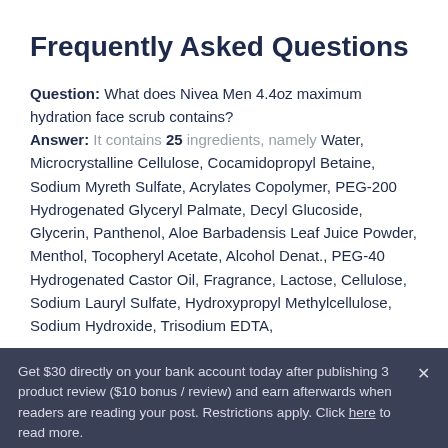Frequently Asked Questions
Question: What does Nivea Men 4.4oz maximum hydration face scrub contains?
Answer: It contains 25 ingredients, namely Water, Microcrystalline Cellulose, Cocamidopropyl Betaine, Sodium Myreth Sulfate, Acrylates Copolymer, PEG-200 Hydrogenated Glyceryl Palmate, Decyl Glucoside, Glycerin, Panthenol, Aloe Barbadensis Leaf Juice Powder, Menthol, Tocopheryl Acetate, Alcohol Denat., PEG-40 Hydrogenated Castor Oil, Fragrance, Lactose, Cellulose, Sodium Lauryl Sulfate, Hydroxypropyl Methylcellulose, Sodium Hydroxide, Trisodium EDTA,
Get $30 directly on your bank account today after publishing 3 product review ($10 bonus / review) and earn afterwards when readers are reading your post. Restrictions apply. Click here to read more.